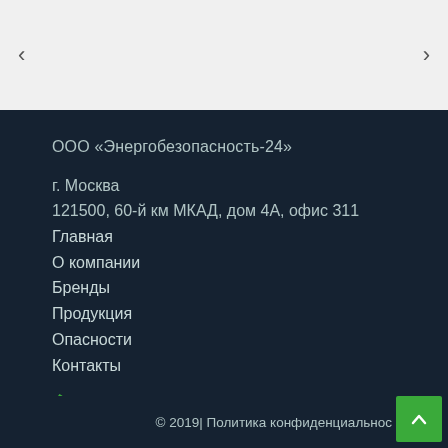< >
ООО «Энергобезопасность-24»
г. Москва
121500, 60-й км МКАД, дом 4А, офис 311
Главная
О компании
Бренды
Продукция
Опасности
Контакты
+7(499) 583-84-54
info@energo24.com
Заказать обратный звонок
© 2019| Политика конфиденциальнос…